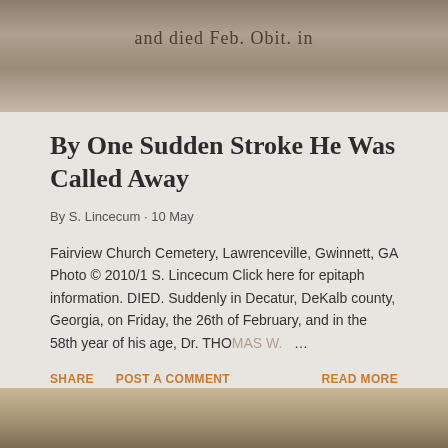[Figure (photo): Top portion of a gravestone with partial text 'and died Feb. Obit. in' engraved on weathered gray stone]
By One Sudden Stroke He Was Called Away
By S. Lincecum · 10 May
Fairview Church Cemetery, Lawrenceville, Gwinnett, GA Photo © 2010/1 S. Lincecum Click here for epitaph information. DIED. Suddenly in Decatur, DeKalb county, Georgia, on Friday, the 26th of February, and in the 58th year of his age, Dr. THOMAS W. ...
SHARE   POST A COMMENT   READ MORE
[Figure (photo): Bottom portion of another gravestone, partially visible, showing stone texture with some engraving]